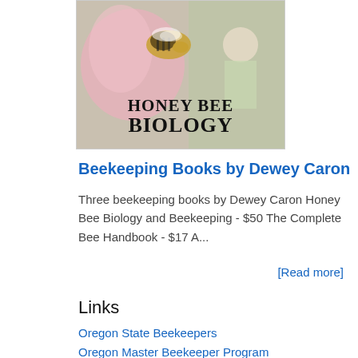[Figure (photo): Book cover image for 'Honey Bee Biology' showing a bee on a pink flower and a beekeeper in the background, with large text 'HONEY BEE BIOLOGY']
Beekeeping Books by Dewey Caron
Three beekeeping books by Dewey Caron Honey Bee Biology and Beekeeping - $50 The Complete Bee Handbook - $17 A...
[Read more]
Links
Oregon State Beekeepers
Oregon Master Beekeeper Program